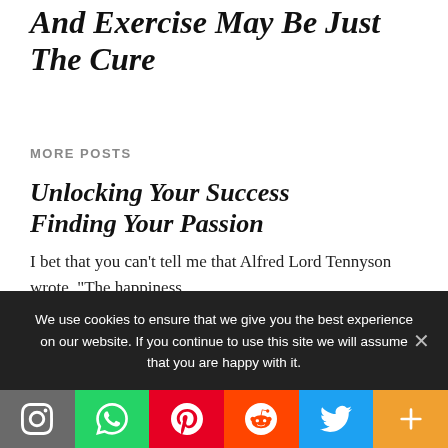And Exercise May Be Just The Cure
MORE POSTS
Unlocking Your Success Finding Your Passion
I bet that you can't tell me that Alfred Lord Tennyson wrote, “The happiness …
We use cookies to ensure that we give you the best experience on our website. If you continue to use this site we will assume that you are happy with it.